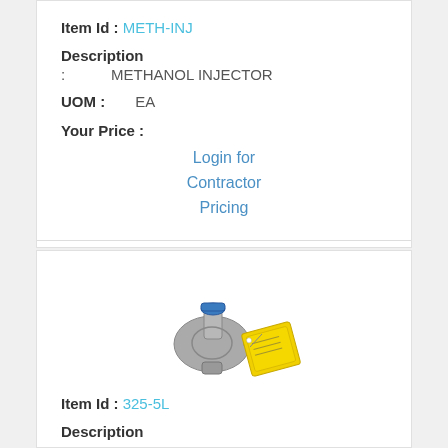Item Id : METH-INJ
Description
: METHANOL INJECTOR
UOM : EA
Your Price :
Login for Contractor Pricing
[Figure (photo): Photo of a pressure regulator/methanol injector device with a yellow tag attached]
Item Id : 325-5L
Description